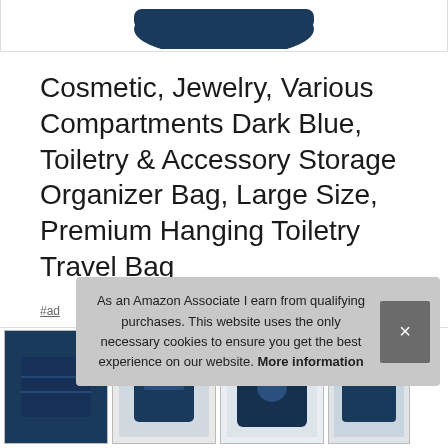[Figure (photo): Partial product image of a dark blue hanging toiletry travel bag, cropped at the top of the page]
Cosmetic, Jewelry, Various Compartments Dark Blue, Toiletry & Accessory Storage Organizer Bag, Large Size, Premium Hanging Toiletry Travel Bag
#ad
[Figure (photo): Bottom strip showing partial product images of the dark blue toiletry bag from multiple angles]
As an Amazon Associate I earn from qualifying purchases. This website uses the only necessary cookies to ensure you get the best experience on our website. More information